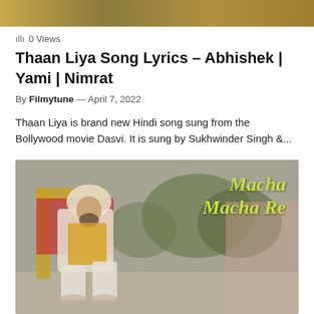[Figure (photo): Top decorative image strip with warm golden/brown tones]
0 Views
Thaan Liya Song Lyrics – Abhishek | Yami | Nimrat
By Filmytune — April 7, 2022
Thaan Liya is brand new Hindi song sung from the Bollywood movie Dasvi. It is sung by Sukhwinder Singh &...
[Figure (photo): A man in traditional Indian attire (white kurta, turban, colorful vest) sitting on a decorative chair outdoors with trees in background. Text overlay reads 'Macha Macha Re' in yellow-green italic font.]